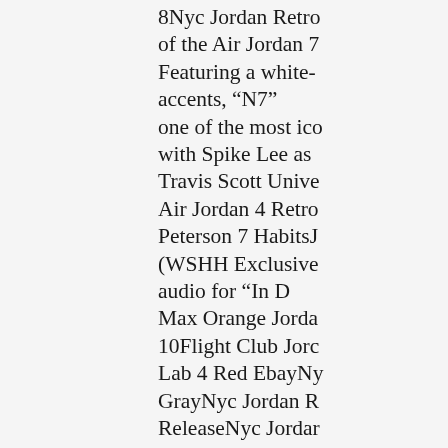8Nyc Jordan Retro of the Air Jordan 7 Featuring a white- accents, “N7“ one of the most ico with Spike Lee as Travis Scott Unive Air Jordan 4 Retro Peterson 7 HabitsJ (WSHH Exclusive audio for “In D Max Orange Jorda 10Flight Club Joro Lab 4 Red EbayNy GrayNyc Jordan R ReleaseNyc Jordar Jordans Grey And AquaNyc Jordan R Retro 10Jordan Re Retro 10Women A Color ShiftNyc Jo 10Nyc Jordan Ret Jordan Retro 10Sp the best basketball They have differen